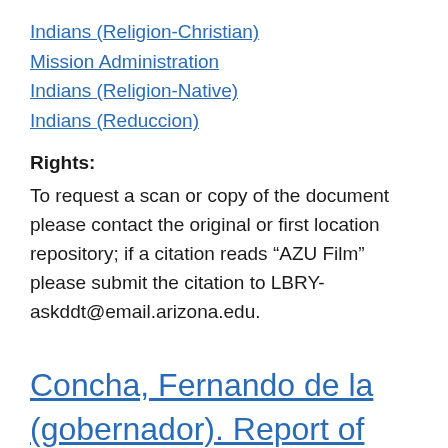Indians (Religion-Christian)
Mission Administration
Indians (Religion-Native)
Indians (Reduccion)
Rights:
To request a scan or copy of the document please contact the original or first location repository; if a citation reads “AZU Film” please submit the citation to LBRY-askddt@email.arizona.edu.
Concha, Fernando de la (gobernador). Report of relations between...